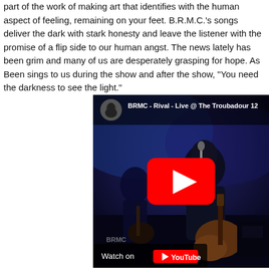part of the work of making art that identifies with the human aspect of feeling, remaining on your feet. B.R.M.C.'s songs deliver the dark with stark honesty and leave the listener with the promise of a flip side to our human angst. The news lately has been grim and many of us are desperately grasping for hope. As Been sings to us during the show and after the show, "You need the darkness to see the light."
[Figure (screenshot): Embedded YouTube video thumbnail showing BRMC performing live on stage. Title reads 'BRMC - Rival - Live @ The Troubadour 12...' with a red play button overlay and 'Watch on YouTube' bar at the bottom.]